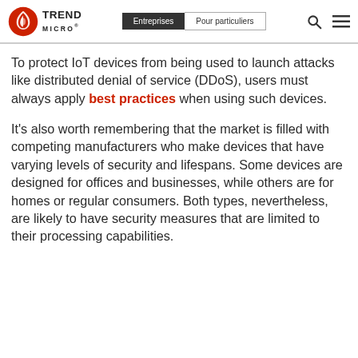Trend Micro | Entreprises | Pour particuliers
To protect IoT devices from being used to launch attacks like distributed denial of service (DDoS), users must always apply best practices when using such devices.
It's also worth remembering that the market is filled with competing manufacturers who make devices that have varying levels of security and lifespans. Some devices are designed for offices and businesses, while others are for homes or regular consumers. Both types, nevertheless, are likely to have security measures that are limited to their processing capabilities.